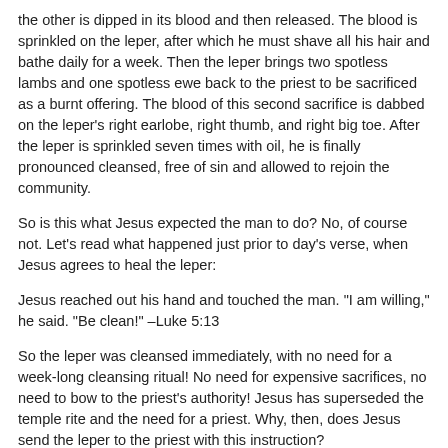the other is dipped in its blood and then released. The blood is sprinkled on the leper, after which he must shave all his hair and bathe daily for a week. Then the leper brings two spotless lambs and one spotless ewe back to the priest to be sacrificed as a burnt offering. The blood of this second sacrifice is dabbed on the leper’s right earlobe, right thumb, and right big toe. After the leper is sprinkled seven times with oil, he is finally pronounced cleansed, free of sin and allowed to rejoin the community.
So is this what Jesus expected the man to do? No, of course not. Let’s read what happened just prior to day’s verse, when Jesus agrees to heal the leper:
Jesus reached out his hand and touched the man. “I am willing,” he said. “Be clean!” –Luke 5:13
So the leper was cleansed immediately, with no need for a week-long cleansing ritual! No need for expensive sacrifices, no need to bow to the priest’s authority! Jesus has superseded the temple rite and the need for a priest. Why, then, does Jesus send the leper to the priest with this instruction?
Perhaps Jesus was joking. Perhaps he was sending a little